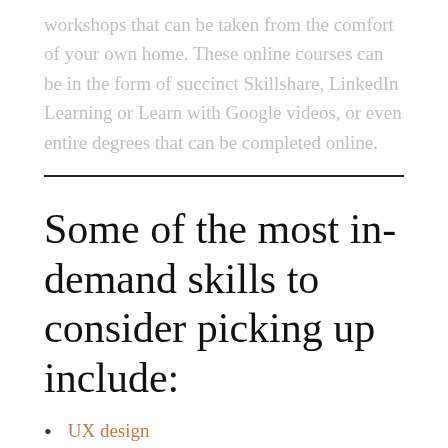workshops that can be taken from the comfort of your own home. These online courses can be in the form of succinct Skillshare, LinkedIn Learning or Learn with Google videos, or even entire degrees that can be completed online.
Some of the most in-demand skills to consider picking up include:
UX design